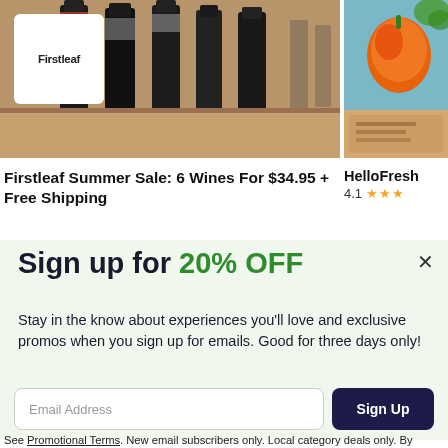[Figure (photo): Wine bottles on a wooden shelf with Firstleaf logo overlay in top-left corner]
[Figure (photo): HelloFresh box with orange pepper on blue background, partially visible]
Firstleaf Summer Sale: 6 Wines For $34.95 + Free Shipping
HelloFresh 4.1 ★★★
Sign up for 20% OFF
Stay in the know about experiences you'll love and exclusive promos when you sign up for emails. Good for three days only!
Email Address
Sign Up
See Promotional Terms. New email subscribers only. Local category deals only. By subscribing, I agree to the Terms of Use and have read the Privacy Statement